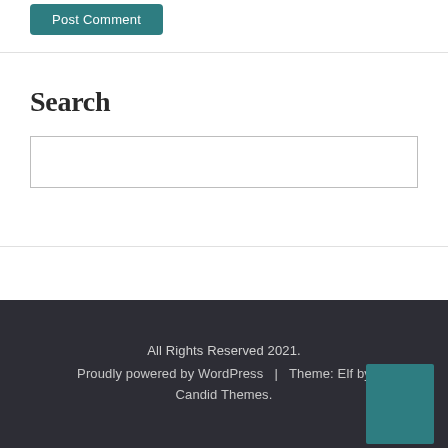Post Comment
Search
[Figure (other): Empty search input box with light border]
All Rights Reserved 2021. Proudly powered by WordPress | Theme: Elf by Candid Themes.